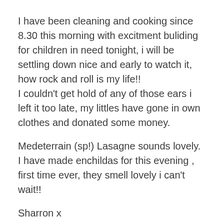I have been cleaning and cooking since 8.30 this morning with excitment buliding for children in need tonight, i will be settling down nice and early to watch it, how rock and roll is my life!! I couldn't get hold of any of those ears i left it too late, my littles have gone in own clothes and donated some money.
Medeterrain (sp!) Lasagne sounds lovely. I have made enchildas for this evening , first time ever, they smell lovely i can't wait!!
Sharron x
Reply